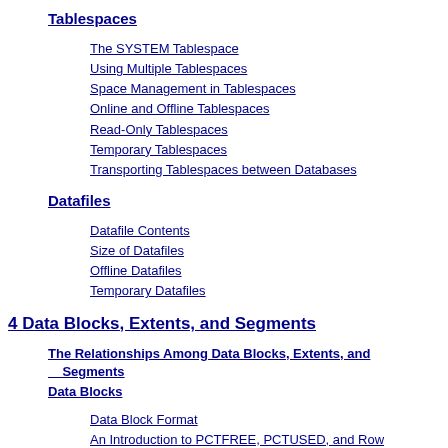Tablespaces
The SYSTEM Tablespace
Using Multiple Tablespaces
Space Management in Tablespaces
Online and Offline Tablespaces
Read-Only Tablespaces
Temporary Tablespaces
Transporting Tablespaces between Databases
Datafiles
Datafile Contents
Size of Datafiles
Offline Datafiles
Temporary Datafiles
4 Data Blocks, Extents, and Segments
The Relationships Among Data Blocks, Extents, and Segments
Data Blocks
Data Block Format
An Introduction to PCTFREE, PCTUSED, and Row